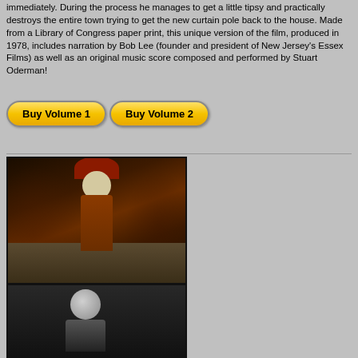immediately. During the process he manages to get a little tipsy and practically destroys the entire town trying to get the new curtain pole back to the house. Made from a Library of Congress paper print, this unique version of the film, produced in 1978, includes narration by Bob Lee (founder and president of New Jersey's Essex Films) as well as an original music score composed and performed by Stuart Oderman!
[Figure (other): Two yellow pill-shaped buttons labeled 'Buy Volume 1' and 'Buy Volume 2' with black bold text on gradient yellow background]
[Figure (photo): Color film still showing a costumed figure in a red/orange costume and large hat, likely from The Phantom of the Opera, standing on steps with other figures in background]
[Figure (photo): Black and white film still showing a figure from the chest up, dark background]